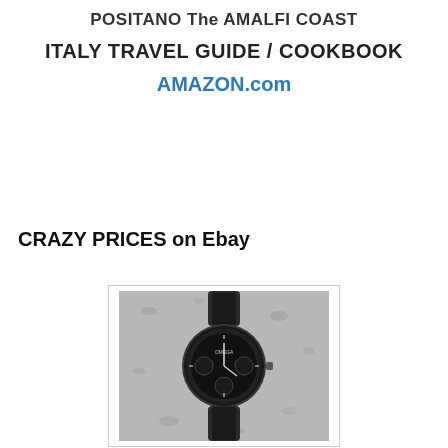POSITANO The AMALFI COAST
ITALY TRAVEL GUIDE / COOKBOOK
AMAZON.com
CRAZY PRICES on Ebay
[Figure (photo): Black and white photograph of an Omega Speedmaster chronograph watch lying on a textured lunar/stone surface, viewed from above.]